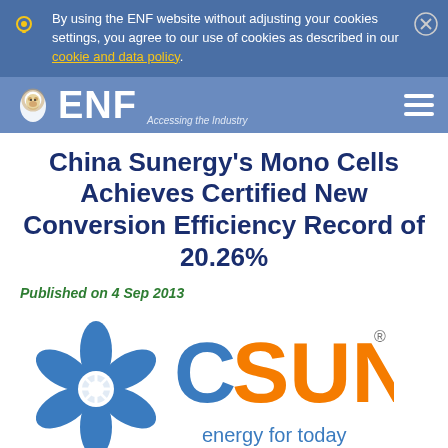By using the ENF website without adjusting your cookies settings, you agree to our use of cookies as described in our cookie and data policy.
[Figure (logo): ENF Solar logo with lion mascot and tagline 'Accessing the Industry']
China Sunergy's Mono Cells Achieves Certified New Conversion Efficiency Record of 20.26%
Published on 4 Sep 2013
[Figure (logo): CSUN (China Sunergy) logo with blue flower emblem and orange CSUN text, tagline 'energy for today']